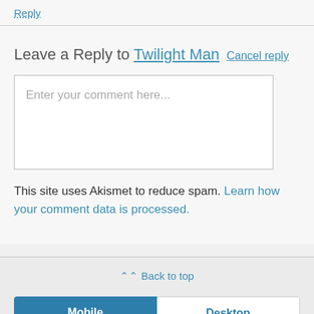Reply
Leave a Reply to Twilight Man Cancel reply
[Figure (screenshot): Comment text input box with placeholder text 'Enter your comment here...']
This site uses Akismet to reduce spam. Learn how your comment data is processed.
⌃⌃ Back to top
Mobile  Desktop